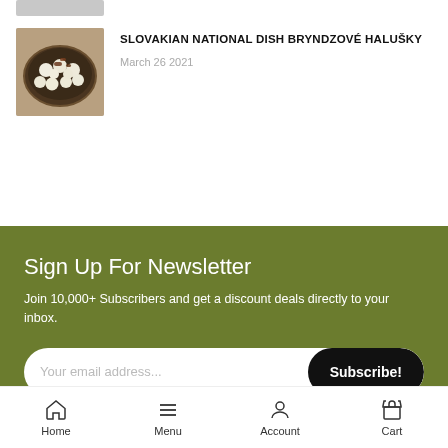[Figure (photo): Partially visible food photo at top of page, cropped]
[Figure (photo): Slovakian national dish Bryndzové Halušky - dumplings with sheep cheese in a dark bowl]
SLOVAKIAN NATIONAL DISH BRYNDZOVÉ HALUŠKY
March 26 2021
Sign Up For Newsletter
Join 10,000+ Subscribers and get a discount deals directly to your inbox.
Your email address...
Subscribe!
Home   Menu   Account   Cart